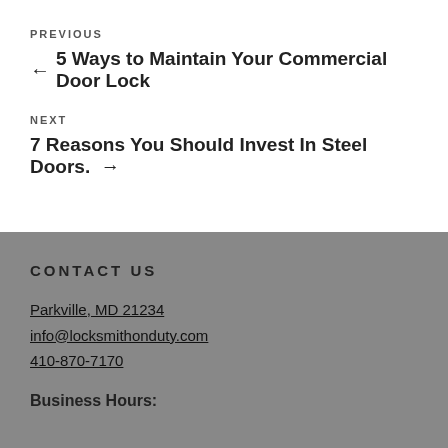PREVIOUS
← 5 Ways to Maintain Your Commercial Door Lock
NEXT
7 Reasons You Should Invest In Steel Doors. →
CONTACT US
Parkville, MD 21234
info@locksmithonduty.com
410-870-7170
Business Hours: